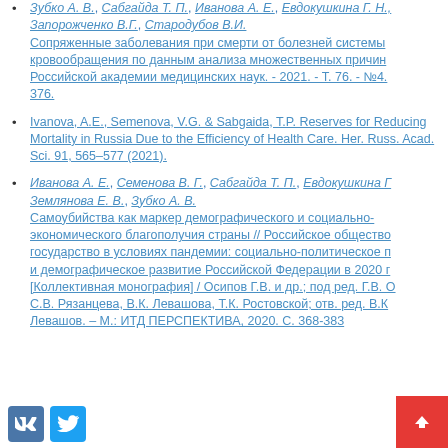Зубко А. В., Сабгайда Т. П., Иванова А. Е., Евдокушкина Г. Н., Запорожченко В.Г., Стародубов В.И. Сопряженные заболевания при смерти от болезней системы кровообращения по данным анализа множественных причин Российской академии медицинских наук. - 2021. - Т. 76. - №4. 376.
Ivanova, A.E., Semenova, V.G. & Sabgaida, T.P. Reserves for Reducing Mortality in Russia Due to the Efficiency of Health Care. Her. Russ. Acad. Sci. 91, 565–577 (2021).
Иванова А. Е., Семенова В. Г., Сабгайда Т. П., Евдокушкина Г., Землянова Е. В., Зубко А. В. Самоубийства как маркер демографического и социально-экономического благополучия страны // Российское общество государство в условиях пандемии: социально-политическое и демографическое развитие Российской Федерации в 2020 г. [Коллективная монография] / Осипов Г.В. и др.; под ред. Г.В. С.В. Рязанцева, В.К. Левашова, Т.К. Ростовской; отв. ред. В.К. Левашов. – М.: ИТД ПЕРСПЕКТИВА, 2020. С. 368-383